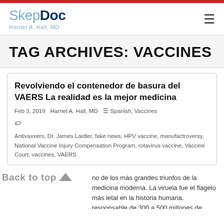SkepDoc Harriet A. Hall, MD
TAG ARCHIVES: VACCINES
Revolviendo el contenedor de basura del VAERS La realidad es la mejor medicina
Feb 3, 2019   Harriet A. Hall, MD   Spanish, Vaccines
Antivaxxers, Dr. James Laidler, fake news, HPV vaccine, manufactroversy, National Vaccine Injury Compensation Program, rotavirus vaccine, Vaccine Court, vaccines, VAERS
Back to top
...son uno de los más grandes triunfos de la medicina moderna. La viruela fue el flagelo más letal en la historia humana, responsable de 300 a 500 millones de